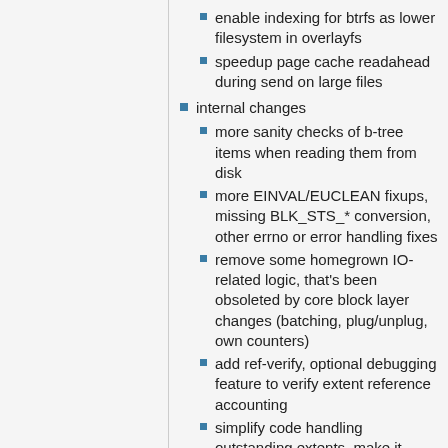enable indexing for btrfs as lower filesystem in overlayfs
speedup page cache readahead during send on large files
internal changes
more sanity checks of b-tree items when reading them from disk
more EINVAL/EUCLEAN fixups, missing BLK_STS_* conversion, other errno or error handling fixes
remove some homegrown IO-related logic, that's been obsoleted by core block layer changes (batching, plug/unplug, own counters)
add ref-verify, optional debugging feature to verify extent reference accounting
simplify code handling outstanding extents, make it more clear where and how the accounting is done
make delalloc reservations per-inode, simplify the code and make the logic more straightforward